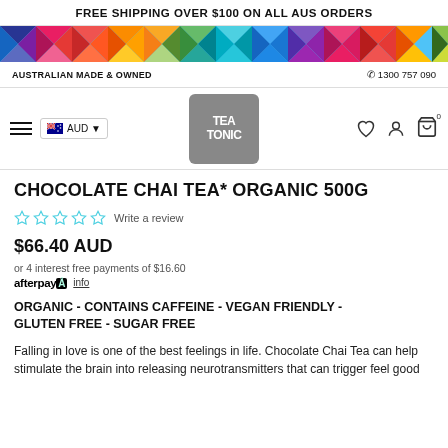FREE SHIPPING OVER $100 ON ALL AUS ORDERS
[Figure (illustration): Colorful geometric diamond/triangle pattern strip in rainbow colors (red, orange, yellow, green, blue, purple, pink)]
AUSTRALIAN MADE & OWNED
1300 757 090
[Figure (logo): Tea Tonic logo on grey rounded square background with white stylized handwritten text]
CHOCOLATE CHAI TEA* ORGANIC 500G
Write a review
$66.40 AUD
or 4 interest free payments of $16.60
afterpay  info
ORGANIC - CONTAINS CAFFEINE - VEGAN FRIENDLY - GLUTEN FREE - SUGAR FREE
Falling in love is one of the best feelings in life. Chocolate Chai Tea can help stimulate the brain into releasing neurotransmitters that can trigger feel good